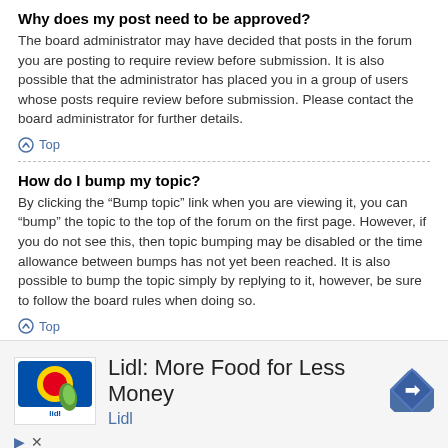Why does my post need to be approved?
The board administrator may have decided that posts in the forum you are posting to require review before submission. It is also possible that the administrator has placed you in a group of users whose posts require review before submission. Please contact the board administrator for further details.
Top
How do I bump my topic?
By clicking the “Bump topic” link when you are viewing it, you can “bump” the topic to the top of the forum on the first page. However, if you do not see this, then topic bumping may be disabled or the time allowance between bumps has not yet been reached. It is also possible to bump the topic simply by replying to it, however, be sure to follow the board rules when doing so.
Top
[Figure (infographic): Lidl advertisement: logo image with 'Lidl: More Food for Less Money' headline, 'Lidl' subtitle in blue, and a blue navigation arrow icon on the right.]